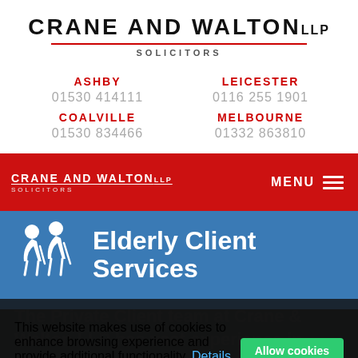CRANE AND WALTON LLP SOLICITORS
ASHBY 01530 414111 | LEICESTER 0116 255 1901 | COALVILLE 01530 834466 | MELBOURNE 01332 863810
[Figure (screenshot): Red navigation bar with Crane and Walton LLP Solicitors logo and MENU hamburger icon]
[Figure (screenshot): Blue banner with elderly person silhouette icon and text 'Elderly Client Services']
This website makes use of cookies to enhance browsing experience and provide additional functionality. Details
Allow cookies